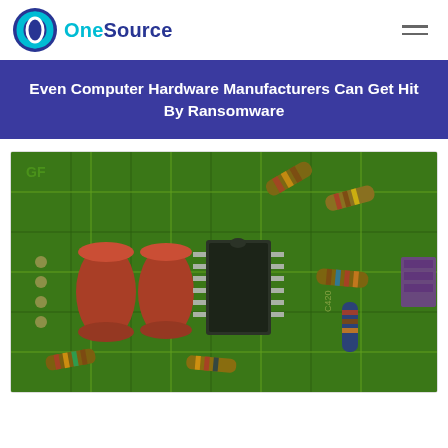OneSource
Even Computer Hardware Manufacturers Can Get Hit By Ransomware
[Figure (photo): Close-up photograph of a green circuit board with electronic components including red capacitors, resistors with color bands, and a black IC chip]